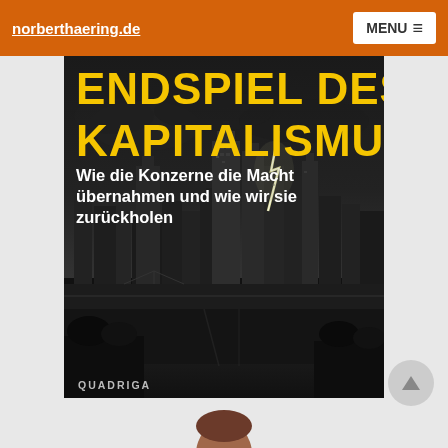norberthaering.de   MENU
[Figure (photo): Book cover for 'Endspiel des Kapitalismus – Wie die Konzerne die Macht übernahmen und wie wir sie zurückholen' published by Quadriga. Shows large yellow bold text title at top over a dark dramatic black-and-white photo of a city skyline (Frankfurt) at night with lightning strikes in the background.]
[Figure (photo): Partial view of a person's head/face at the very bottom of the page, showing only the top of a head with brown hair.]